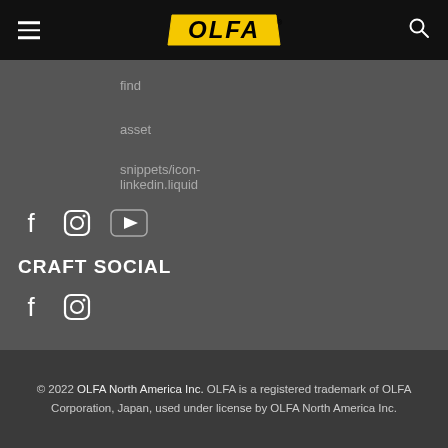OLFA logo header with hamburger menu and search icon
find
asset
snippets/icon-linkedin.liquid
CRAFT SOCIAL
© 2022 OLFA North America Inc. OLFA is a registered trademark of OLFA Corporation, Japan, used under license by OLFA North America Inc.